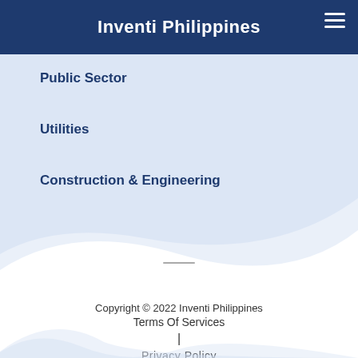Inventi Philippines
Public Sector
Utilities
Construction & Engineering
Copyright © 2022 Inventi Philippines
Terms Of Services | Privacy Policy